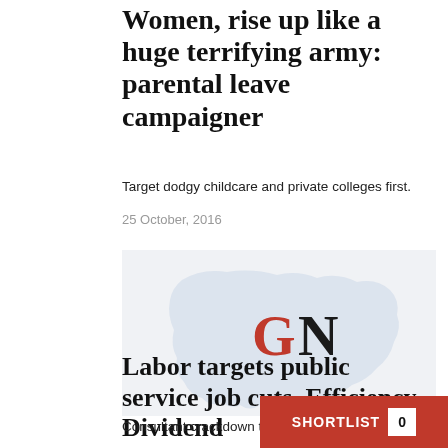Women, rise up like a huge terrifying army: parental leave campaigner
Target dodgy childcare and private colleges first.
25 October, 2016
[Figure (logo): GN logo (red G, black N) with light grey Australia map silhouette in background]
Labor targets public service job cuts, Efficiency Dividend
Consultant crackdown to fund pay bill.